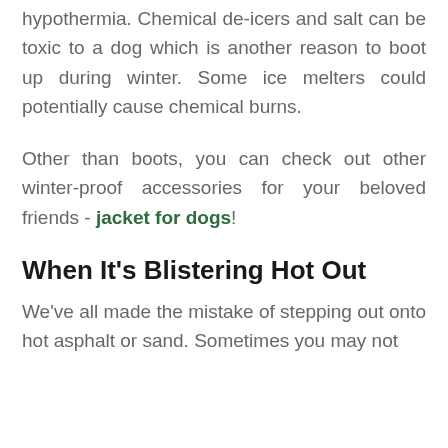hypothermia. Chemical de-icers and salt can be toxic to a dog which is another reason to boot up during winter. Some ice melters could potentially cause chemical burns.
Other than boots, you can check out other winter-proof accessories for your beloved friends - jacket for dogs!
When It's Blistering Hot Out
We've all made the mistake of stepping out onto hot asphalt or sand. Sometimes you may not